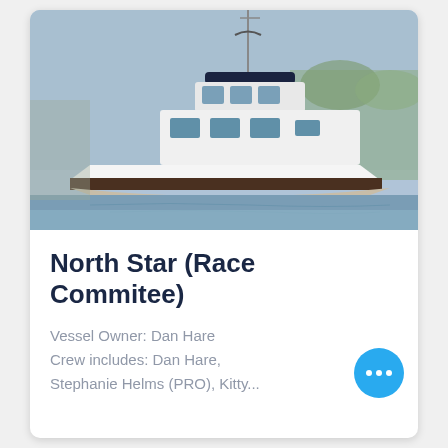[Figure (photo): A white motor yacht/trawler boat moored in water on a cloudy day, with trees visible in the background. The vessel has a fly bridge and multiple cabin windows.]
North Star (Race Commitee)
Vessel Owner: Dan Hare
Crew includes: Dan Hare, Stephanie Helms (PRO), Kitty...